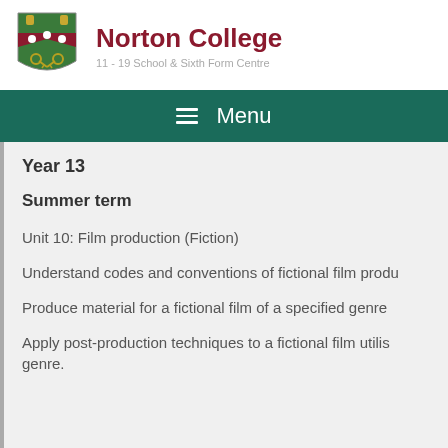Norton College — 11 - 19 School & Sixth Form Centre
Menu
Year 13
Summer term
Unit 10: Film production (Fiction)
Understand codes and conventions of fictional film produ…
Produce material for a fictional film of a specified genre
Apply post-production techniques to a fictional film utilis… genre.